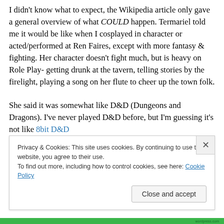I didn't know what to expect, the Wikipedia article only gave a general overview of what COULD happen. Termariel told me it would be like when I cosplayed in character or acted/performed at Ren Faires, except with more fantasy & fighting. Her character doesn't fight much, but is heavy on Role Play- getting drunk at the tavern, telling stories by the firelight, playing a song on her flute to cheer up the town folk.

She said it was somewhat like D&D (Dungeons and Dragons). I've never played D&D before, but I'm guessing it's not like 8bit D&D
Privacy & Cookies: This site uses cookies. By continuing to use this website, you agree to their use.
To find out more, including how to control cookies, see here: Cookie Policy